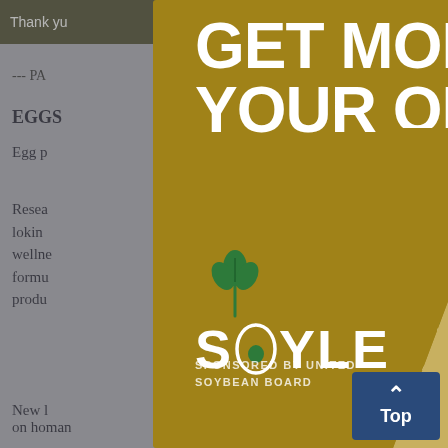Thank you  ...  ools you
--- PA
EGGS
Egg p...
Resea... ingly looki... wellne... formu... g egg produ... n.
New l... on ho... man
[Figure (screenshot): Advertisement modal overlay from Soyleic / United Soybean Board. Gold/olive colored card with large white bold text reading 'GET MORE FROM YOUR OIL WITH', a green plant/sprout logo, and the brand name 'SOYLEIC' in white. Lower portion shows a photographic texture of soybeans. Text 'SPONSORED BY UNITED SOYBEAN BOARD' appears at the bottom left. A close button (X) is at top right. A navy 'Top' back-to-top button appears at bottom right of the page.]